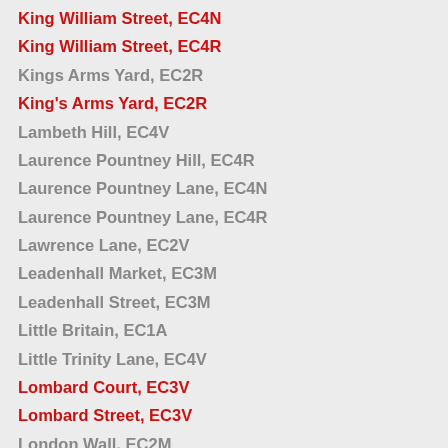King William Street, EC4N
King William Street, EC4R
Kings Arms Yard, EC2R
King's Arms Yard, EC2R
Lambeth Hill, EC4V
Laurence Pountney Hill, EC4R
Laurence Pountney Lane, EC4N
Laurence Pountney Lane, EC4R
Lawrence Lane, EC2V
Leadenhall Market, EC3M
Leadenhall Street, EC3M
Little Britain, EC1A
Little Trinity Lane, EC4V
Lombard Court, EC3V
Lombard Street, EC3V
London Wall, EC2M
Lothbury, EC2R
Lovat Lane, EC3R
Love Lane, EC2V